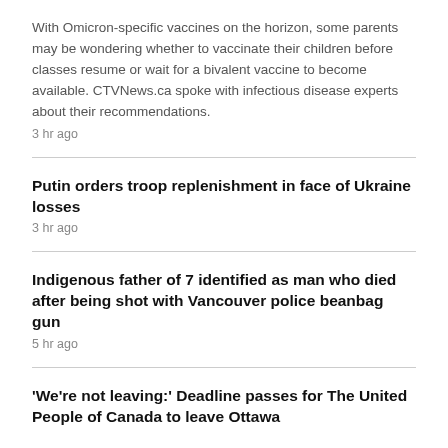With Omicron-specific vaccines on the horizon, some parents may be wondering whether to vaccinate their children before classes resume or wait for a bivalent vaccine to become available. CTVNews.ca spoke with infectious disease experts about their recommendations.
3 hr ago
Putin orders troop replenishment in face of Ukraine losses
3 hr ago
Indigenous father of 7 identified as man who died after being shot with Vancouver police beanbag gun
5 hr ago
'We're not leaving:' Deadline passes for The United People of Canada to leave Ottawa